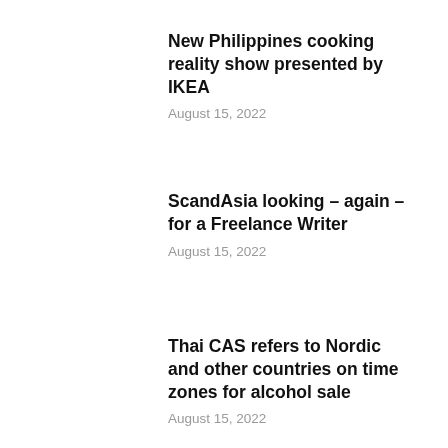New Philippines cooking reality show presented by IKEA
August 15, 2022
ScandAsia looking – again – for a Freelance Writer
August 15, 2022
Thai CAS refers to Nordic and other countries on time zones for alcohol sale
August 15, 2022